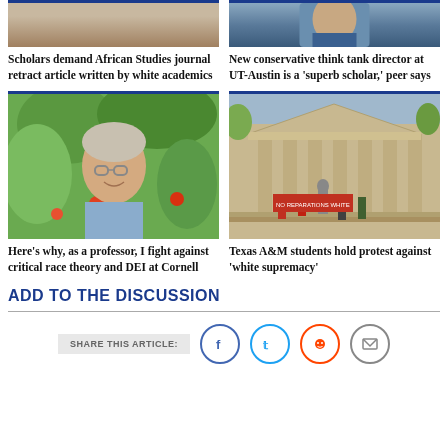[Figure (photo): Partial top image of a man in blue shirt (right column top)]
Scholars demand African Studies journal retract article written by white academics
New conservative think tank director at UT-Austin is a 'superb scholar,' peer says
[Figure (photo): Older man with glasses smiling outdoors with plants in background]
[Figure (photo): Students holding protest signs outside a large stone building]
Here's why, as a professor, I fight against critical race theory and DEI at Cornell
Texas A&M students hold protest against 'white supremacy'
ADD TO THE DISCUSSION
SHARE THIS ARTICLE: